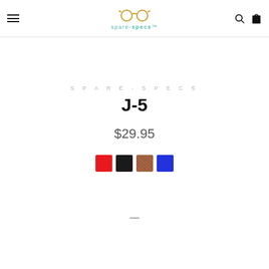spare-specs navigation header with logo, hamburger menu, search and cart icons
SPARE-SPECS
J-5
$29.95
[Figure (other): Four color swatches: red, black, brown, blue]